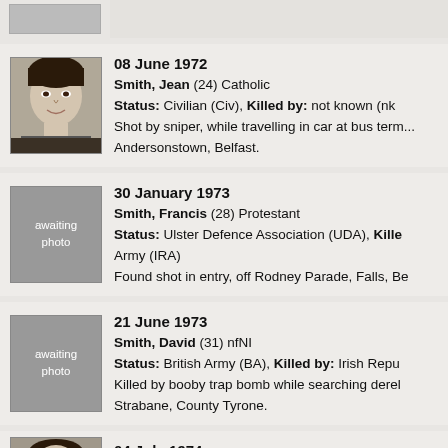[Figure (photo): Partial entry at top, photo cropped]
(partial entry, no text visible)
08 June 1972
Smith, Jean (24) Catholic
Status: Civilian (Civ), Killed by: not known (nk)
Shot by sniper, while travelling in car at bus terminus, Andersonstown, Belfast.
[Figure (photo): Awaiting photo placeholder]
30 January 1973
Smith, Francis (28) Protestant
Status: Ulster Defence Association (UDA), Killed by: Irish Republican Army (IRA)
Found shot in entry, off Rodney Parade, Falls, Belfast.
[Figure (photo): Awaiting photo placeholder]
21 June 1973
Smith, David (31) nfNI
Status: British Army (BA), Killed by: Irish Republican Army (IRA)
Killed by booby trap bomb while searching derelict building, Strabane, County Tyrone.
[Figure (photo): Partial photo at bottom]
04 July 1974
Smith, David (26) nfNI